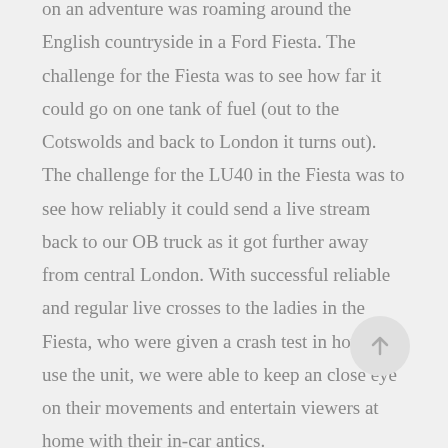on an adventure was roaming around the English countryside in a Ford Fiesta. The challenge for the Fiesta was to see how far it could go on one tank of fuel (out to the Cotswolds and back to London it turns out). The challenge for the LU40 in the Fiesta was to see how reliably it could send a live stream back to our OB truck as it got further away from central London. With successful reliable and regular live crosses to the ladies in the Fiesta, who were given a crash test in how to use the unit, we were able to keep an close eye on their movements and entertain viewers at home with their in-car antics.
With this live broadcast having strayed from traditional in so many ways, we still relied on made use of our traditional kit alongside the